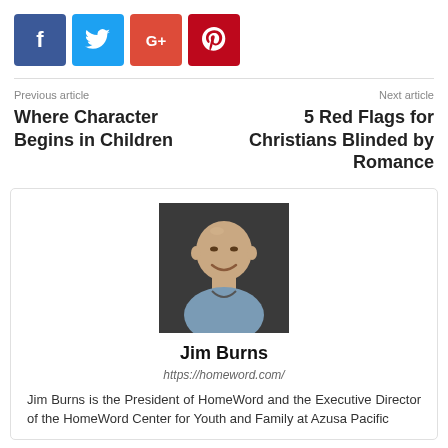[Figure (infographic): Four social media share buttons: Facebook (blue), Twitter (cyan), Google+ (orange-red), Pinterest (red)]
Previous article
Where Character Begins in Children
Next article
5 Red Flags for Christians Blinded by Romance
[Figure (photo): Headshot photo of Jim Burns, a bald smiling man in a blue shirt against a dark background]
Jim Burns
https://homeword.com/
Jim Burns is the President of HomeWord and the Executive Director of the HomeWord Center for Youth and Family at Azusa Pacific